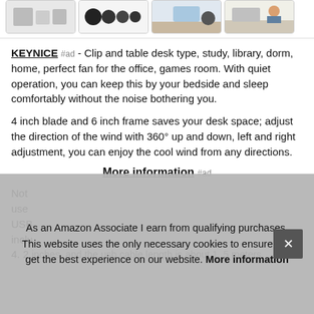[Figure (other): Row of four product thumbnail images showing fans in different styles]
KEYNICE #ad - Clip and table desk type, study, library, dorm, home, perfect fan for the office, games room. With quiet operation, you can keep this by your bedside and sleep comfortably without the noise bothering you.
4 inch blade and 6 inch frame saves your desk space; adjust the direction of the wind with 360° up and down, left and right adjustment, you can enjoy the cool wind from any directions.
More information #ad
Not... use... USB... inclu... 4. 2 inches, and the usb cable length is about 1. 5 meters.
As an Amazon Associate I earn from qualifying purchases. This website uses the only necessary cookies to ensure you get the best experience on our website. More information